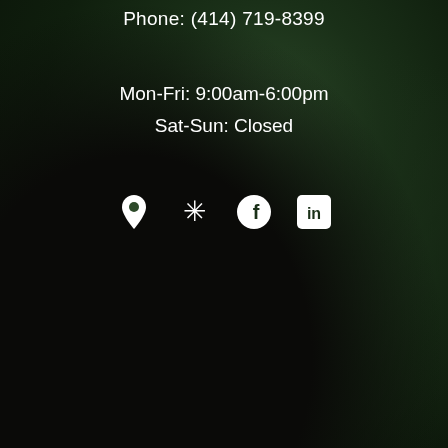Phone: (414) 719-8399
Mon-Fri: 9:00am-6:00pm
Sat-Sun: Closed
[Figure (illustration): Row of four social/map icons: map pin (location), Yelp burst star, Facebook circle F, LinkedIn square 'in' — all white on dark green forest background]